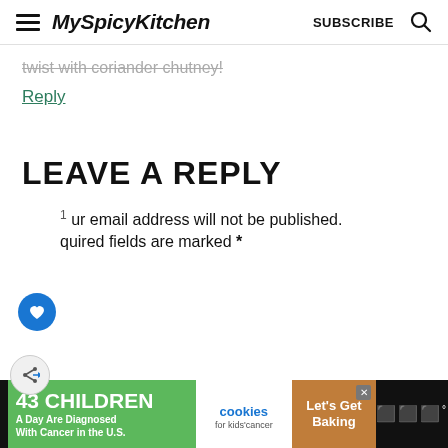MySpicyKitchen  SUBSCRIBE
twist with coriander chutney!
Reply
LEAVE A REPLY
Your email address will not be published.
Required fields are marked *
[Figure (infographic): Advertisement banner: '43 CHILDREN A Day Are Diagnosed With Cancer in the U.S.' with cookies for kids' cancer logo and 'Let's Get Baking' text]